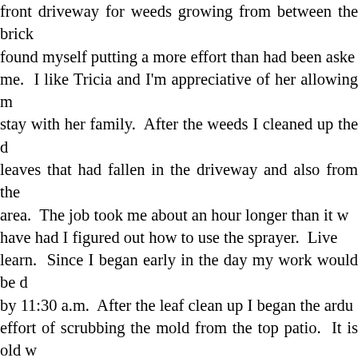front driveway for weeds growing from between the bricks. I found myself putting a more effort than had been asked of me. I like Tricia and I'm appreciative of her allowing me to stay with her family. After the weeds I cleaned up the dead leaves that had fallen in the driveway and also from the patio area. The job took me about an hour longer than it would have had I figured out how to use the sprayer. Live and learn. Since I began early in the day my work would be done by 11:30 a.m. After the leaf clean up I began the arduous effort of scrubbing the mold from the top patio. It is old wood that has grayed over time. Tricia asked that I take off the top layer of mold so that she could stain it and preserve the wood coloring. A brush to scrub, a household bottle to spray the remover, and my hands and knees, were my tools. I put on my “outback” jeans, the jeans that I brought to destroy (so was the theme for everything I brought with me), and gave it a go. I began by spraying the remover and then scrubbing firmly in one direction and then scrubbing it perpendicular after. Then I would spray the same area and repeat the original direction